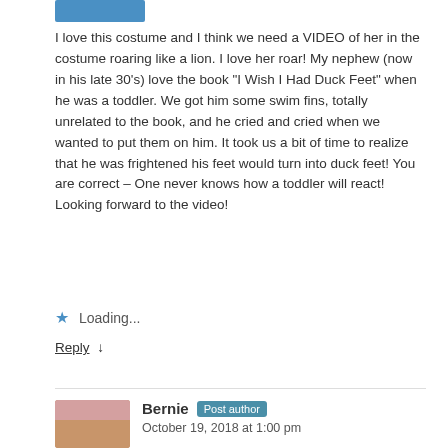[Figure (photo): Partial blue avatar image at top]
I love this costume and I think we need a VIDEO of her in the costume roaring like a lion. I love her roar! My nephew (now in his late 30's) love the book “I Wish I Had Duck Feet” when he was a toddler. We got him some swim fins, totally unrelated to the book, and he cried and cried when we wanted to put them on him. It took us a bit of time to realize that he was frightened his feet would turn into duck feet! You are correct – One never knows how a toddler will react! Looking forward to the video!
Loading...
Reply ↓
Bernie Post author
October 19, 2018 at 1:00 pm